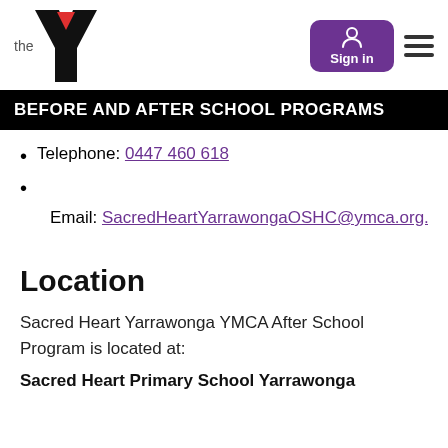[Figure (logo): YMCA 'the Y' logo with black Y shape and red triangle]
BEFORE AND AFTER SCHOOL PROGRAMS
Telephone: 0447 460 618
Email: SacredHeartYarrawongaOSHC@ymca.org.a
Location
Sacred Heart Yarrawonga YMCA After School Program is located at:
Sacred Heart Primary School Yarrawonga